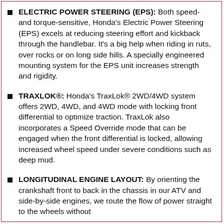ELECTRIC POWER STEERING (EPS): Both speed- and torque-sensitive, Honda's Electric Power Steering (EPS) excels at reducing steering effort and kickback through the handlebar. It's a big help when riding in ruts, over rocks or on long side hills. A specially engineered mounting system for the EPS unit increases strength and rigidity.
TRAXLOK®: Honda's TraxLok® 2WD/4WD system offers 2WD, 4WD, and 4WD mode with locking front differential to optimize traction. TraxLok also incorporates a Speed Override mode that can be engaged when the front differential is locked, allowing increased wheel speed under severe conditions such as deep mud.
LONGITUDINAL ENGINE LAYOUT: By orienting the crankshaft front to back in the chassis in our ATV and side-by-side engines, we route the flow of power straight to the wheels without...